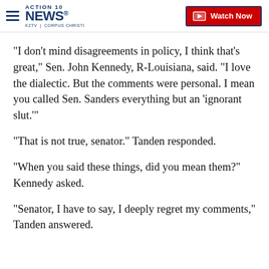ACTION 10 NEWS® KZTV | CORPUS CHRISTI — Watch Now
"I don't mind disagreements in policy, I think that's great," Sen. John Kennedy, R-Louisiana, said. "I love the dialectic. But the comments were personal. I mean you called Sen. Sanders everything but an 'ignorant slut.'"
"That is not true, senator." Tanden responded.
"When you said these things, did you mean them?" Kennedy asked.
"Senator, I have to say, I deeply regret my comments," Tanden answered.